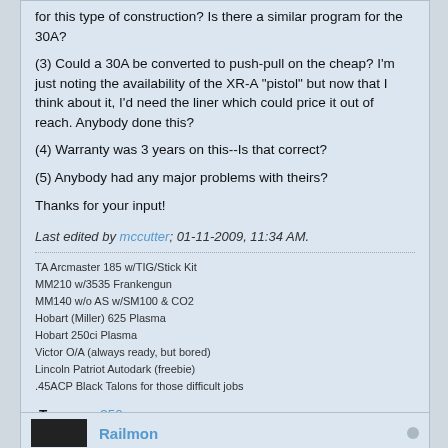for this type of construction? Is there a similar program for the 30A?
(3) Could a 30A be converted to push-pull on the cheap? I'm just noting the availability of the XR-A "pistol" but now that I think about it, I'd need the liner which could price it out of reach. Anybody done this?
(4) Warranty was 3 years on this--Is that correct?
(5) Anybody had any major problems with theirs?
Thanks for your input!
Last edited by mccutter; 01-11-2009, 11:34 AM.
TA Arcmaster 185 w/TIG/Stick Kit
MM210 w/3535 Frankengun
MM140 w/o AS w/SM100 & CO2
Hobart (Miller) 625 Plasma
Hobart 250ci Plasma
Victor O/A (always ready, but bored)
Lincoln Patriot Autodark (freebie)
.45ACP Black Talons for those difficult jobs
Tags: mm350p
Railmon